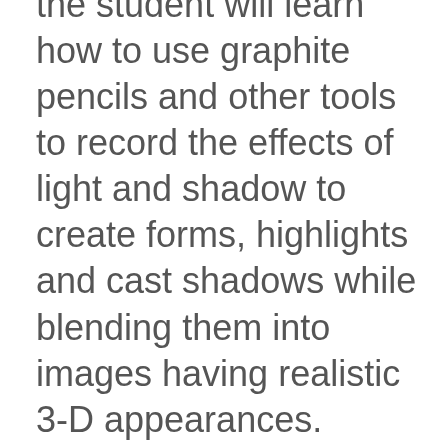the student will learn how to use graphite pencils and other tools to record the effects of light and shadow to create forms, highlights and cast shadows while blending them into images having realistic 3-D appearances. Class discussions will include how to break down images into basic shapes, strategies to transfer images, observing detail, pencil layering and developing contrast. Each student is treated individually and progresses at their own pace. The class is open to all levels–beginner to the more experienced.